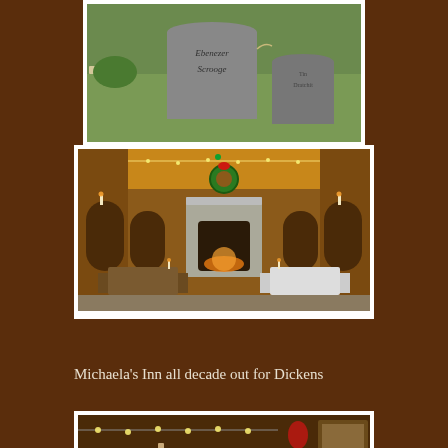[Figure (photo): Two tombstone props outdoors on grass, one larger reading 'Ebenezer Scrooge' and one smaller reading 'Tin Dratchit', set up for a Dickens-themed display]
[Figure (photo): Interior of Michaela's Inn decorated for Christmas/Dickens theme with warm amber lighting, stone fireplace, wooden benches and tables, a lit Christmas wreath above the fireplace]
Michaela’s Inn all decade out for Dickens
[Figure (photo): Close-up partial view of interior with string lights and festive decorations]